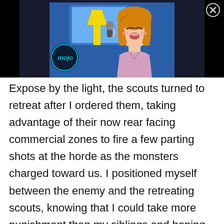[Figure (illustration): Anime-style illustration of a girl with orange/brown hair singing into a microphone, with a yellow object and blue background, WatchMojo 'mojo' logo visible in lower left. Set against a black banner background.]
Expose by the light, the scouts turned to retreat after I ordered them, taking advantage of their now rear facing commercial zones to fire a few parting shots at the horde as the monsters charged toward us. I positioned myself between the enemy and the retreating scouts, knowing that I could take more punishment than my siblings and hoping to absorb some enemy fire.